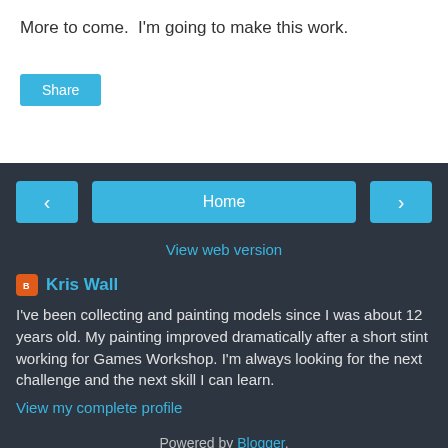More to come.  I'm going to make this work.
[Figure (other): Blue 'Share' button]
[Figure (other): Navigation bar with left arrow, Home button, right arrow, and View web version link]
Kris Wall
I've been collecting and painting models since I was about 12 years old. My painting improved dramatically after a short stint working for Games Workshop. I'm always looking for the next challenge and the next skill I can learn.
View my complete profile
Powered by Blogger.